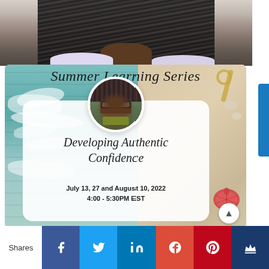[Figure (photo): Cropped photo of a person with braids, showing neck and shoulders, top portion of image]
[Figure (infographic): Summer Learning Series promotional card with beach/wood background, circular speaker photo, script title 'Developing Authentic Confidence', dates July 13, 27 and August 10, 2022, 4:00-5:30PM EST]
Summer Learning Series
Developing Authentic Confidence
July 13, 27 and August 10, 2022
4:00 - 5:30PM EST
Shares [Facebook] [Twitter] [LinkedIn] [Google+] [Pinterest] [Crown]